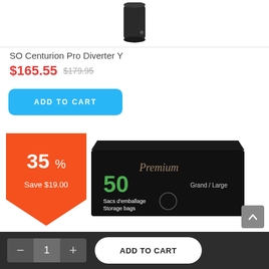[Figure (photo): Dark cylindrical product component (SO Centurion Pro Diverter Y) on white background]
SO Centurion Pro Diverter Y
$165.55  $179.95
ADD TO CART
[Figure (infographic): Orange discount badge showing 35% off, Save $19.00]
[Figure (photo): Black box of Premium 50 Grand/Large Storage Bags (Sacs d'emballage)]
- 1 + ADD TO CART